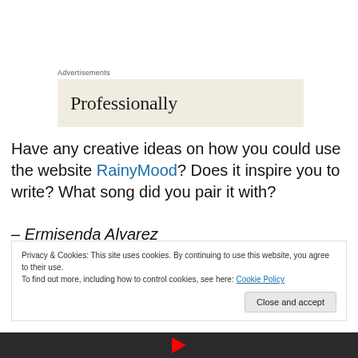Advertisements
[Figure (other): Advertisement banner with beige background showing the word 'Professionally' in serif font]
Have any creative ideas on how you could use the website RainyMood? Does it inspire you to write? What song did you pair it with?
– Ermisenda Alvarez
Privacy & Cookies: This site uses cookies. By continuing to use this website, you agree to their use.
To find out more, including how to control cookies, see here: Cookie Policy
[Figure (screenshot): Bottom strip showing a dark video thumbnail with a red YouTube play button]